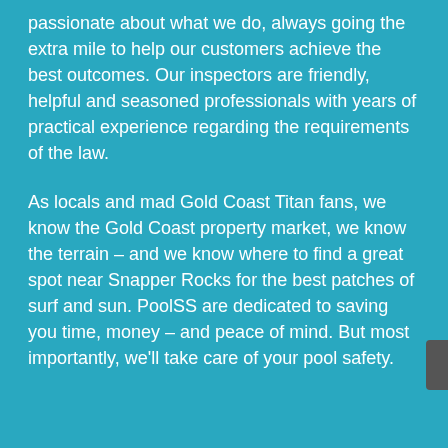passionate about what we do, always going the extra mile to help our customers achieve the best outcomes. Our inspectors are friendly, helpful and seasoned professionals with years of practical experience regarding the requirements of the law.
As locals and mad Gold Coast Titan fans, we know the Gold Coast property market, we know the terrain – and we know where to find a great spot near Snapper Rocks for the best patches of surf and sun. PoolSS are dedicated to saving you time, money – and peace of mind. But most importantly, we'll take care of your pool safety.